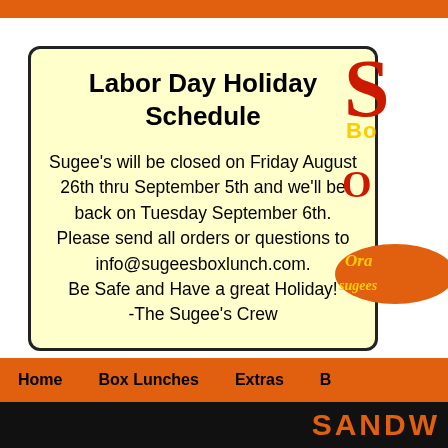Labor Day Holiday Schedule
Sugee's will be closed on Friday August 26th thru September 5th and we'll be back on Tuesday September 6th. Please send all orders or questions to info@sugeesboxlunch.com. Be Safe and Have a great Holiday! -The Sugee's Crew
[Figure (logo): Sugee's Box Lunch logo partially visible on the right side: large red S, yellow 'Bo' text, red O letter, orange oval with 'Ora... sugees...' text]
Home   Box Lunches   Extras   B...
SANDW...